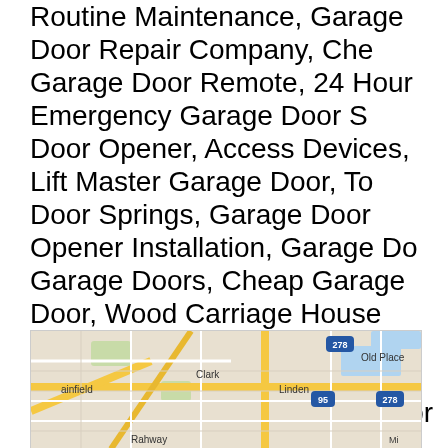Routine Maintenance, Garage Door Repair Company, Che... Garage Door Remote, 24 Hour Emergency Garage Door S... Door Opener, Access Devices, Lift Master Garage Door, To... Door Springs, Garage Door Opener Installation, Garage Do... Garage Doors, Cheap Garage Door, Wood Carriage House... Genie Garage Door Opener, Fresh Garage Door Installatio... Extension Springs, Garage Door Opener Parts, Traditional... Garage Door Spring Repair, Universal Garage Door Opene... Cheap Overhead Door, Liftmaster Garage Door Opener, Lo... Service, Garage Door Hardware, New Garage Door Installa... Issues, Repair Garage Openers, Out-of Track Doors, Overh... Garage Springs, Replace Garage Doors, Garage Door Part... Door Service, Local Garage Door Experts, Steel And Comp... Noisy Doors Silenced and more.
[Figure (map): Google Maps showing area with Plainfield, Clark, Linden, Old Place, Rahway labels and route 278, 95 markers]